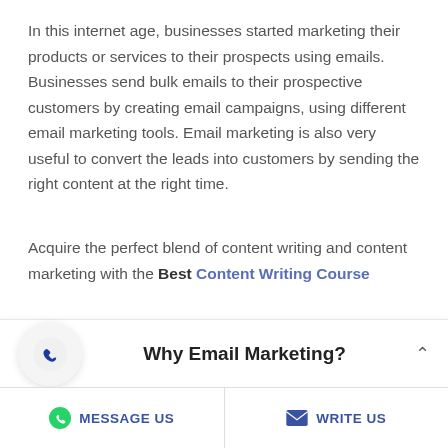In this internet age, businesses started marketing their products or services to their prospects using emails. Businesses send bulk emails to their prospective customers by creating email campaigns, using different email marketing tools. Email marketing is also very useful to convert the leads into customers by sending the right content at the right time.
Acquire the perfect blend of content writing and content marketing with the Best Content Writing Course
Why Email Marketing?
MESSAGE US   WRITE US